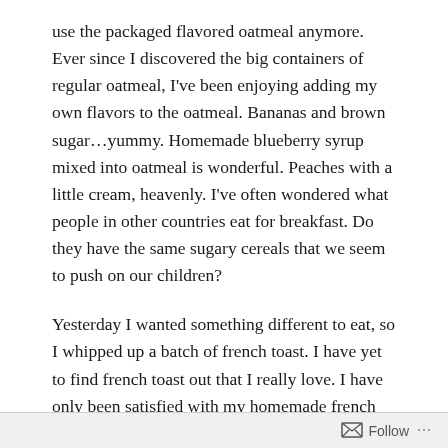use the packaged flavored oatmeal anymore. Ever since I discovered the big containers of regular oatmeal, I've been enjoying adding my own flavors to the oatmeal. Bananas and brown sugar…yummy. Homemade blueberry syrup mixed into oatmeal is wonderful. Peaches with a little cream, heavenly. I've often wondered what people in other countries eat for breakfast. Do they have the same sugary cereals that we seem to push on our children?
Yesterday I wanted something different to eat, so I whipped up a batch of french toast. I have yet to find french toast out that I really love. I have only been satisfied with my homemade french toast. I am always looking for ways to improve my french toast.  This latest batch was fantastic.  It's all in what kind of bread you use AND what you add to the egg mixture. This time I used Arnold Whole Grains Health Nut bread – mostly because it was on BOGO at Publix this past week and I had PLENTY to spare. My egg mixture included two eggs
Follow